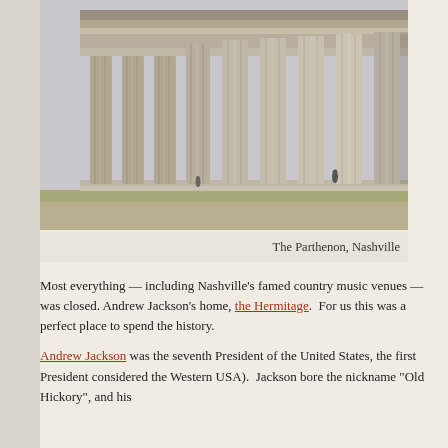[Figure (photo): Photograph of the Parthenon replica in Nashville, Tennessee. View shows the front and side of the large classical building with tall fluted columns supporting a decorated entablature. A few small human figures are visible at the base. The sky is overcast.]
The Parthenon, Nashville
Most everything — including Nashville's famed country music venues — was closed. Andrew Jackson's home, the Hermitage.  For us this was a perfect place to spend the history.
Andrew Jackson was the seventh President of the United States, the first President considered the Western USA).  Jackson bore the nickname "Old Hickory", and his